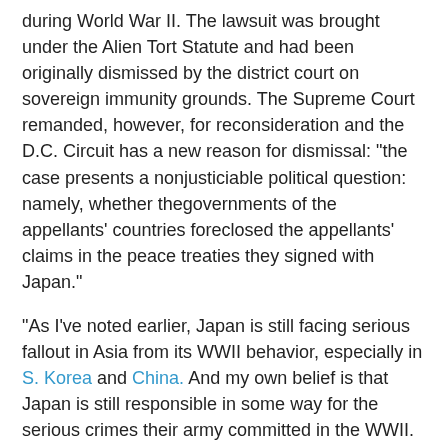during World War II. The lawsuit was brought under the Alien Tort Statute and had been originally dismissed by the district court on sovereign immunity grounds. The Supreme Court remanded, however, for reconsideration and the D.C. Circuit has a new reason for dismissal: "the case presents a nonjusticiable political question: namely, whether thegovernments of the appellants' countries foreclosed the appellants' claims in the peace treaties they signed with Japan."
"As I've noted earlier, Japan is still facing serious fallout in Asia from its WWII behavior, especially in S. Korea and China. And my own belief is that Japan is still responsible in some way for the serious crimes their army committed in the WWII. But, as a legal matter, both Korea and China (and Taiwan and the Philippines) may have waived any claims by their nationals via peace treaties with Japan.
"What is interesting here is that the D.C. Circuit refused to resolve whether or not the claims have in fact been waived by the treaties. Instead, it has invoked the always murky "political question" doctrine to dismiss the case on the theory